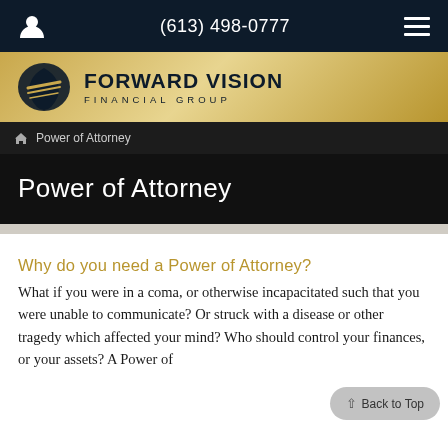(613) 498-0777
[Figure (logo): Forward Vision Financial Group logo with shield/leaf icon on gold banner background. Text reads FORWARD VISION FINANCIAL GROUP.]
Power of Attorney
Power of Attorney
Why do you need a Power of Attorney?
What if you were in a coma, or otherwise incapacitated such that you were unable to communicate? Or struck with a disease or other tragedy which affected your mind? Who should control your finances, or your assets? A Power of